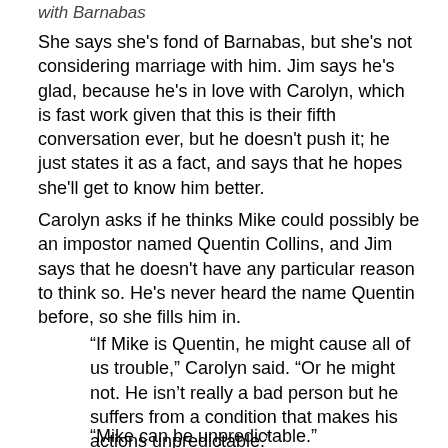with Barnabas
She says she's fond of Barnabas, but she's not considering marriage with him. Jim says he's glad, because he's in love with Carolyn, which is fast work given that this is their fifth conversation ever, but he doesn't push it; he just states it as a fact, and says that he hopes she'll get to know him better.
Carolyn asks if he thinks Mike could possibly be an impostor named Quentin Collins, and Jim says that he doesn't have any particular reason to think so. He's never heard the name Quentin before, so she fills him in.
“If Mike is Quentin, he might cause all of us trouble,” Carolyn said. “Or he might not. He isn’t really a bad person but he suffers from a condition that makes his actions unpredictable.”
“Mike can be unpredictable.”